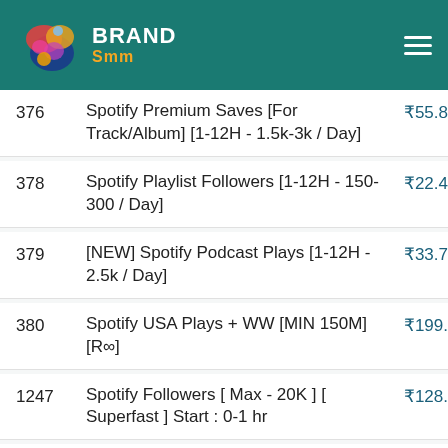BRAND Smm
| ID | Service | Price |
| --- | --- | --- |
| 376 | Spotify Premium Saves [For Track/Album] [1-12H - 1.5k-3k / Day] | ₹55.8 |
| 378 | Spotify Playlist Followers [1-12H - 150-300 / Day] | ₹22.4 |
| 379 | [NEW] Spotify Podcast Plays [1-12H - 2.5k / Day] | ₹33.7 |
| 380 | Spotify USA Plays + WW [MIN 150M] [R∞] | ₹199. |
| 1247 | Spotify Followers [ Max - 20K ] [ Superfast ] Start : 0-1 hr | ₹128. |
| 1248 | Spotify Playlist Followers [ Max: 100K | Speed: 20,000K/D ] [ No Refill ] 0-1hr | ₹45.0 |